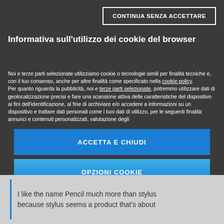CONTINUA SENZA ACCETTARE
Informativa sull'utilizzo dei cookie del browser
Noi e terze parti selezionate utilizziamo cookie o tecnologie simili per finalità tecniche e, con il tuo consenso, anche per altre finalità come specificato nella cookie policy.
Per quanto riguarda la pubblicità, noi e terze parti selezionate, potremmo utilizzare dati di geolocalizzazione precisi e fare una scansione attiva delle caratteristiche del dispositivo ai fini dell'identificazione, al fine di archiviare e/o accedere a informazioni su un dispositivo e trattare dati personali come i tuoi dati di utilizzo, per le seguenti finalità: annunci e contenuti personalizzati, valutazione degli
ACCETTA E CHIUDI
OPZIONI COOKIE
[Figure (logo): Mondadori Media logo with red triangle/mountain icon]
I like the name Pencil much more than stylus because stylus seems a product that's about